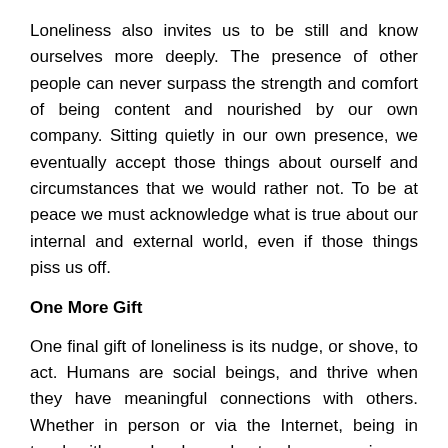Loneliness also invites us to be still and know ourselves more deeply. The presence of other people can never surpass the strength and comfort of being content and nourished by our own company. Sitting quietly in our own presence, we eventually accept those things about ourself and circumstances that we would rather not. To be at peace we must acknowledge what is true about our internal and external world, even if those things piss us off.
One More Gift
One final gift of loneliness is its nudge, or shove, to act. Humans are social beings, and thrive when they have meaningful connections with others. Whether in person or via the Internet, being in touch with people who understand our experiences or share our interests is vital for well being. Sometimes, we require the strength of others, and they, ours.
“In everyone’s life, at some time,our inner fire goes out. It is then burst into flame by an encounter with another human being. We should all be thankful for those people who rekindle the inner